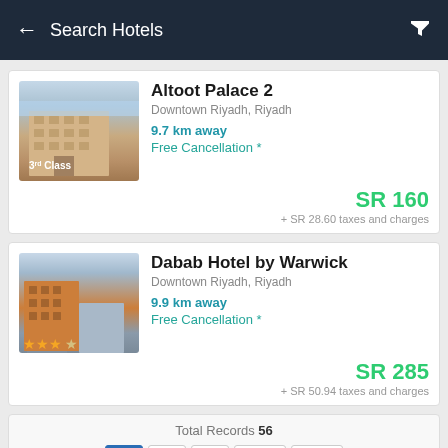Search Hotels
Altoot Palace 2
Downtown Riyadh, Riyadh
9.7 km away
Free Cancellation *
SR 160
+ SR 28.60 taxes and charges
Dabab Hotel by Warwick
Downtown Riyadh, Riyadh
9.9 km away
Free Cancellation *
SR 285
+ SR 50.94 taxes and charges
Total Records 56
1  2  3  Next  Last